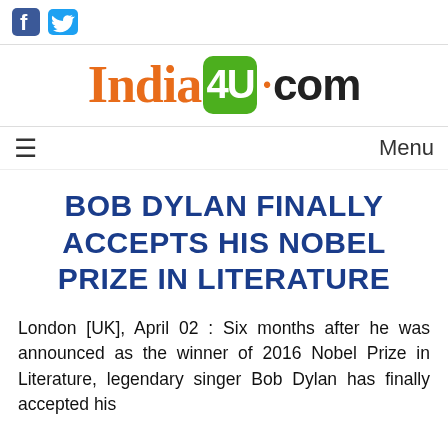[Facebook icon] [Twitter icon]
[Figure (logo): India4U.com logo with orange 'India', green box with '4U', orange dot, and black '.com']
≡  Menu
BOB DYLAN FINALLY ACCEPTS HIS NOBEL PRIZE IN LITERATURE
London [UK], April 02 : Six months after he was announced as the winner of 2016 Nobel Prize in Literature, legendary singer Bob Dylan has finally accepted his